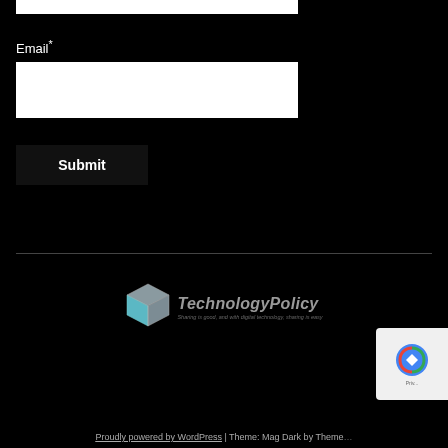[Figure (other): Top portion of a white input form field (partially visible at top of page)]
Email*
[Figure (other): White email input text field]
[Figure (other): Submit button with bold white text 'Submit' on dark background]
[Figure (logo): TechnologyPolicy logo with a 3D box icon and italic text 'TechnologyPolicy' with tagline 'Sharing is good, and with digital technology, sharing is easy']
[Figure (other): reCAPTCHA badge partially visible at bottom right]
Proudly powered by WordPress | Theme: Mag Dark by Theme…